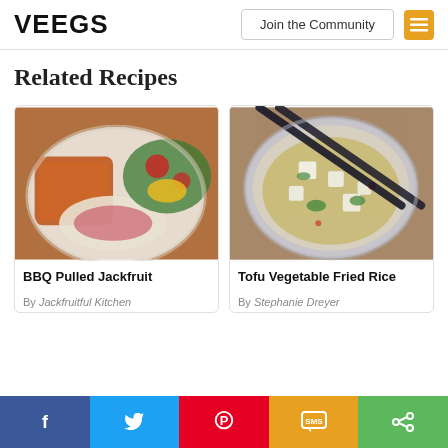VEEGS — Join the Community
Related Recipes
[Figure (photo): Plate of BBQ Pulled Jackfruit with coleslaw and a mango salad with greens and tomatoes]
BBQ Pulled Jackfruit
By Jackfruitful Kitchen
[Figure (photo): Bowl of Tofu Vegetable Fried Rice with chopsticks resting on top, viewed from above]
Tofu Vegetable Fried Rice
By Stephanie Dreyer
Social share bar: Facebook, Twitter, Pinterest, SMS, Share